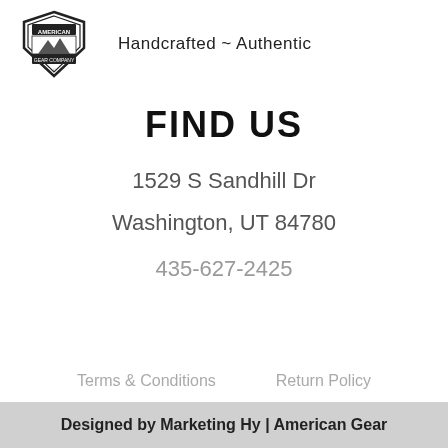[Figure (logo): American Gear Company badge/shield logo in black and white]
Handcrafted ~ Authentic
FIND US
1529 S Sandhill Dr
Washington, UT 84780
435-627-2425
Terms & Conditions
Return Policy
Privacy Policy
Payments Policy
Designed by Marketing Hy | American Gear